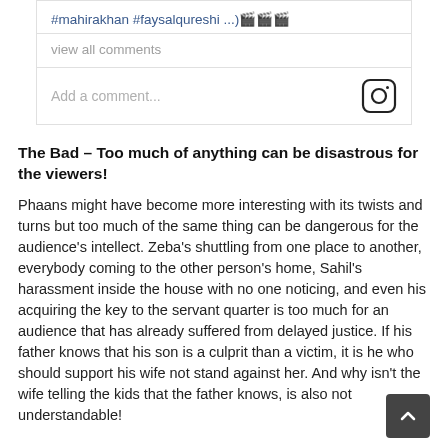#mahirakhan #faysalqureshi ...)🎬🎬🎬
view all comments
Add a comment...
The Bad – Too much of anything can be disastrous for the viewers!
Phaans might have become more interesting with its twists and turns but too much of the same thing can be dangerous for the audience's intellect. Zeba's shuttling from one place to another, everybody coming to the other person's home, Sahil's harassment inside the house with no one noticing, and even his acquiring the key to the servant quarter is too much for an audience that has already suffered from delayed justice. If his father knows that his son is a culprit than a victim, it is he who should support his wife not stand against her. And why isn't the wife telling the kids that the father knows, is also not understandable!